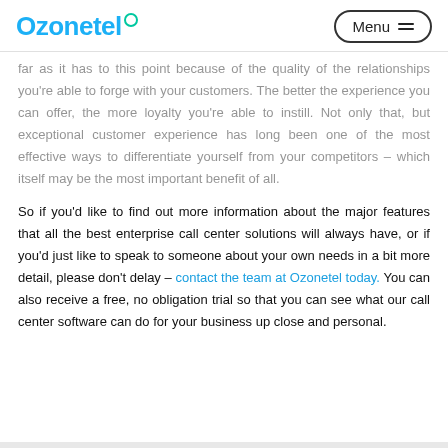Ozonetel | Menu
far as it has to this point because of the quality of the relationships you're able to forge with your customers. The better the experience you can offer, the more loyalty you're able to instill. Not only that, but exceptional customer experience has long been one of the most effective ways to differentiate yourself from your competitors – which itself may be the most important benefit of all.
So if you'd like to find out more information about the major features that all the best enterprise call center solutions will always have, or if you'd just like to speak to someone about your own needs in a bit more detail, please don't delay – contact the team at Ozonetel today. You can also receive a free, no obligation trial so that you can see what our call center software can do for your business up close and personal.